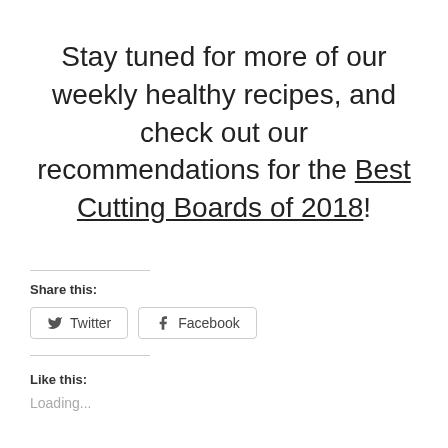Stay tuned for more of our weekly healthy recipes, and check out our recommendations for the Best Cutting Boards of 2018!
Share this:
Twitter  Facebook
Like this:
Loading...